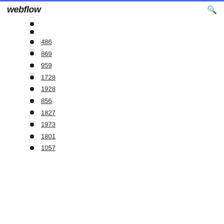webflow
486
869
959
1728
1928
856
1827
1973
1801
1057